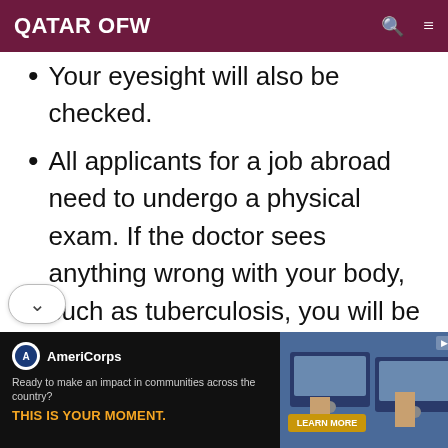QATAR OFW
Your eyesight will also be checked.
All applicants for a job abroad need to undergo a physical exam. If the doctor sees anything wrong with your body, such as tuberculosis, you will be given medication. Once your health condition improves, you can schedule
[Figure (screenshot): AmeriCorps advertisement banner: 'Ready to make an impact in communities across the country? THIS IS YOUR MOMENT. LEARN MORE' with photo of people at computers]